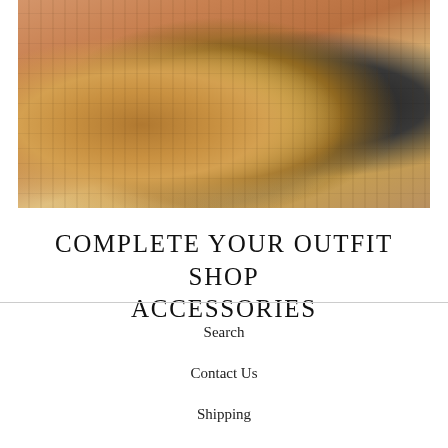[Figure (photo): Close-up photo of a wrist wearing multiple stacked bracelets: wooden disc beads in tan/golden tones, cream/white chunky beads, black disc beads, and a gold metallic charm bead, against a warm skin-toned background.]
COMPLETE YOUR OUTFIT SHOP ACCESSORIES
Search
Contact Us
Shipping
Privacy Policy